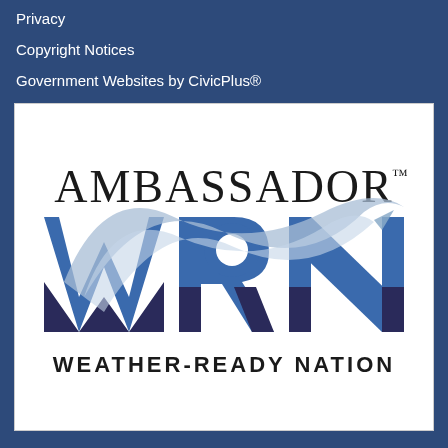Privacy
Copyright Notices
Government Websites by CivicPlus®
[Figure (logo): Ambassador Weather-Ready Nation (WRN) logo. Large blue stylized letters W, R, N with a swooping arc graphic overlay. Text 'AMBASSADOR™' above in black serif font and 'WEATHER-READY NATION' below in black sans-serif font. White background.]